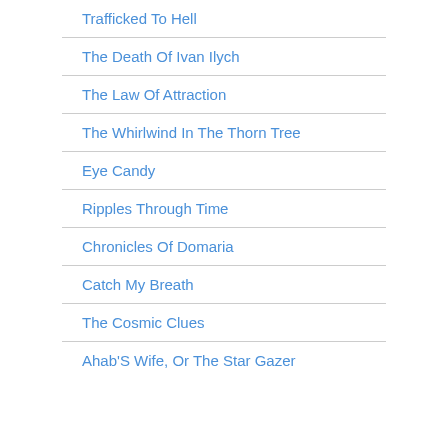Trafficked To Hell
The Death Of Ivan Ilych
The Law Of Attraction
The Whirlwind In The Thorn Tree
Eye Candy
Ripples Through Time
Chronicles Of Domaria
Catch My Breath
The Cosmic Clues
Ahab'S Wife, Or The Star Gazer